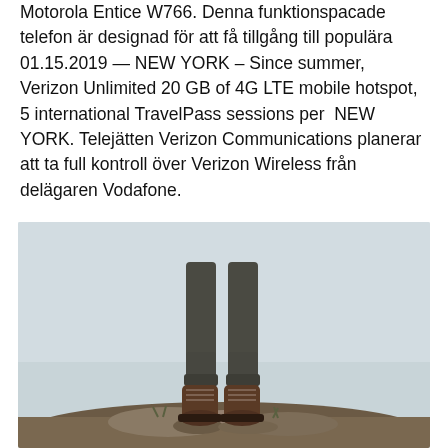Motorola Entice W766. Denna funktionspacade telefon är designad för att få tillgång till populära 01.15.2019 — NEW YORK – Since summer, Verizon Unlimited 20 GB of 4G LTE mobile hotspot, 5 international TravelPass sessions per  NEW YORK. Telejätten Verizon Communications planerar att ta full kontroll över Verizon Wireless från delägaren Vodafone.
[Figure (photo): A person standing on rocky ground viewed from behind, showing legs in dark pants and brown hiking boots, with a light gray/blue overcast sky background.]